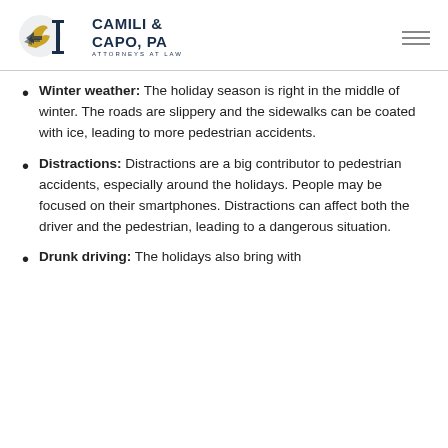Camili & Capo, PA — Attorneys at Law
Winter weather: The holiday season is right in the middle of winter. The roads are slippery and the sidewalks can be coated with ice, leading to more pedestrian accidents.
Distractions: Distractions are a big contributor to pedestrian accidents, especially around the holidays. People may be focused on their smartphones. Distractions can affect both the driver and the pedestrian, leading to a dangerous situation.
Drunk driving: The holidays also bring with